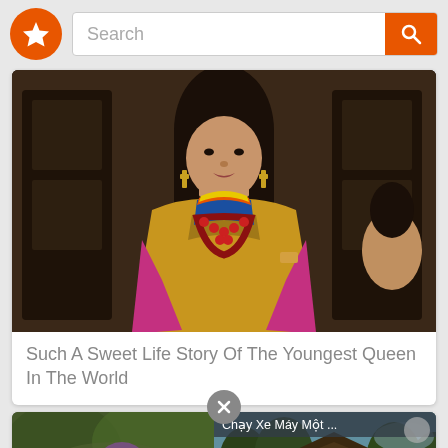[Figure (screenshot): App header bar with orange star logo, search text field, and orange search button]
[Figure (photo): Woman wearing traditional Bhutanese golden robe with colorful necklace and cross earrings]
Such A Sweet Life Story Of The Youngest Queen In The World
[Figure (screenshot): Close/dismiss button (X circle) between cards]
[Figure (photo): Left thumbnail: blurry outdoor nature scene with woman with long hair. Right video thumbnail: temple/pagoda scene in Southeast Asia with video title 'Chay Xe Máy Một ...' and play button]